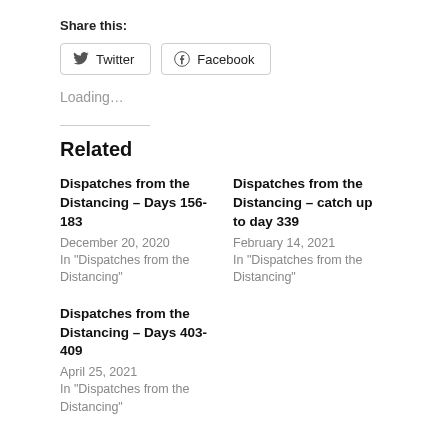Share this:
Twitter   Facebook
Loading...
Related
Dispatches from the Distancing – Days 156-183
December 20, 2020
In "Dispatches from the Distancing"
Dispatches from the Distancing – catch up to day 339
February 14, 2021
In "Dispatches from the Distancing"
Dispatches from the Distancing – Days 403-409
April 25, 2021
In "Dispatches from the Distancing"